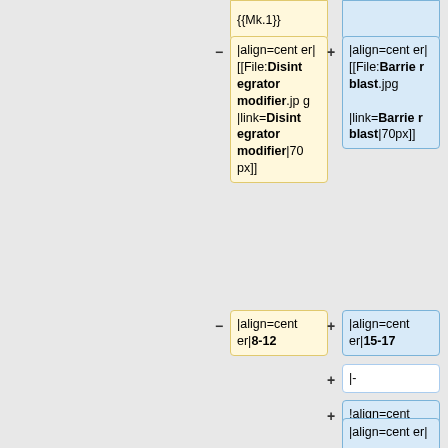{{Mk.1}}
|align=center| [[File:Disintegrator modifier.jpg |link=Disintegrator modifier|70px]]
|align=center| [[File:Barrier blast.jpg |link=Barrier blast|70px]]
|align=center|8-12
|align=center|15-17
|-
!align=center|Redirection of energy flows {{Mk.1}}
|align=center|